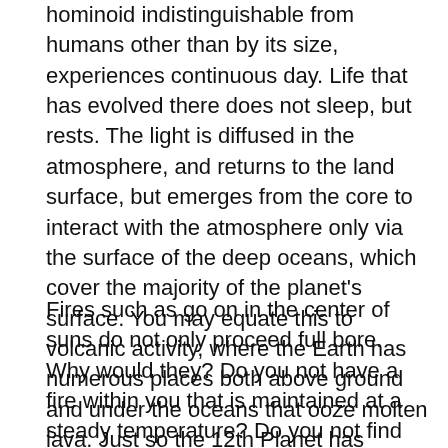hominoid indistinguishable from humans other than by its size, experiences continuous day. Life that has evolved there does not sleep, but rests. The light is diffused in the atmosphere, and returns to the land surface, but emerges from the core to interact with the atmosphere only via the surface of the deep oceans, which cover the majority of the planet's surface. You may equate this to volcanic activity, where the Earth has numerous places both above ground and under the oceans that ooze molten lava. Just so the 12th Planet has places where the molten and churning substance in its core escapes to the surface.
Fires such as go on in the center of suns do not only proceed full bore. Why would they? Do you not have a fire within you that is maintained at a steady temperature? Do you not find that the fire in your fireplace can be slowed by adjusting the damper? Humans do not understand what is occurring within the